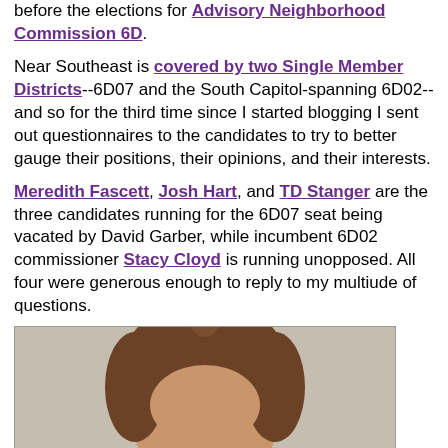before the elections for Advisory Neighborhood Commission 6D.
Near Southeast is covered by two Single Member Districts--6D07 and the South Capitol-spanning 6D02--and so for the third time since I started blogging I sent out questionnaires to the candidates to try to better gauge their positions, their opinions, and their interests.
Meredith Fascett, Josh Hart, and TD Stanger are the three candidates running for the 6D07 seat being vacated by David Garber, while incumbent 6D02 commissioner Stacy Cloyd is running unopposed. All four were generous enough to reply to my multiude of questions.
[Figure (photo): Partial photo of a person with brown hair visible from forehead up, against a beige/tan background]